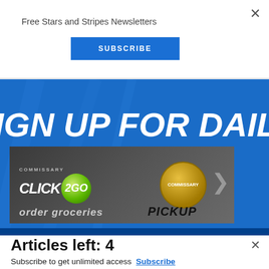Free Stars and Stripes Newsletters
SUBSCRIBE
[Figure (infographic): Blue banner background with large bold white italic text 'SIGN UP FOR DAILY' and an overlaid advertisement for Commissary Click2Go showing a green ball logo with '2GO' text, a Commissary seal/badge, partial text 'order groceries' and 'PICKUP']
Articles left: 4
Subscribe to get unlimited access  Subscribe
Already have an account?  Login here